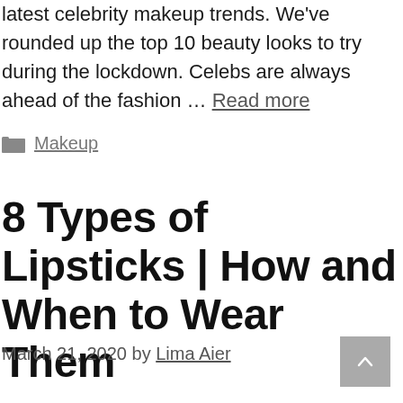latest celebrity makeup trends. We've rounded up the top 10 beauty looks to try during the lockdown. Celebs are always ahead of the fashion … Read more
Makeup
8 Types of Lipsticks | How and When to Wear Them
March 21, 2020 by Lima Aier